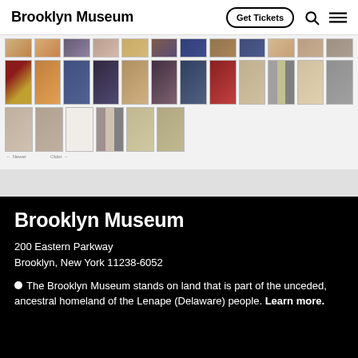Brooklyn Museum | Get Tickets
[Figure (photo): Grid of textile artwork thumbnail images from the Brooklyn Museum collection, showing various fabric patterns including plaid, embroidered, and woven textiles in earth tones, blues, reds, and neutrals.]
Brooklyn Museum
200 Eastern Parkway
Brooklyn, New York 11238-6052
● The Brooklyn Museum stands on land that is part of the unceded, ancestral homeland of the Lenape (Delaware) people. Learn more.